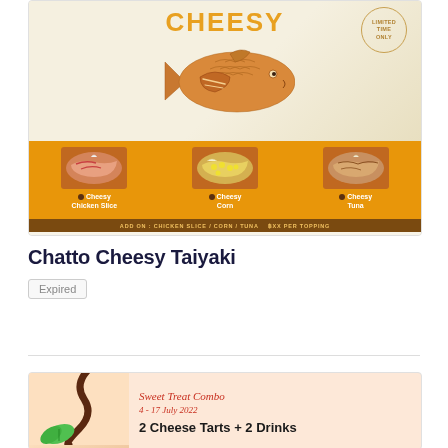[Figure (photo): Promotional image for Chatto Cheesy Taiyaki showing a fish-shaped taiyaki pastry with orange background bar displaying three filling variants: Cheesy Chicken Slice, Cheesy Corn, and Cheesy Tuna. Includes 'LIMITED TIME ONLY' badge and add-on text.]
Chatto Cheesy Taiyaki
Expired
[Figure (photo): Promotional image for Sweet Treat Combo (4-17 July 2022) offering 2 Cheese Tarts + 2 Drinks, shown on peach/salmon background with chocolate swirl decoration and mint leaf.]